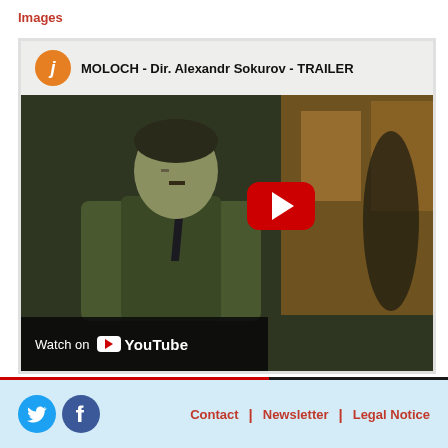Images
[Figure (screenshot): YouTube video thumbnail for 'MOLOCH - Dir. Alexandr Sokurov - TRAILER' showing a dark film still of a man in a suit with a YouTube play button overlay and a 'Watch on YouTube' banner at the bottom.]
Contact | Newsletter | Legal Notice